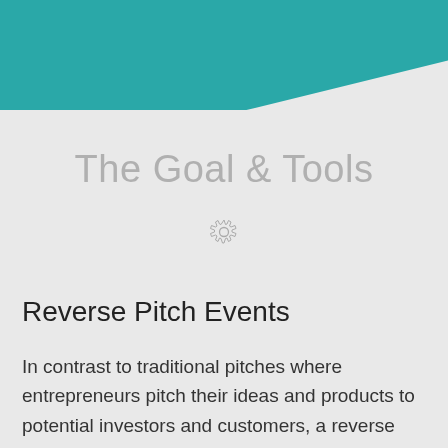The Goal & Tools
[Figure (illustration): Small decorative gear/settings icon in light gray]
Reverse Pitch Events
In contrast to traditional pitches where entrepreneurs pitch their ideas and products to potential investors and customers, a reverse pitch puts end users in front of the community to pitch their specific challenges (a "problem pitch"), equipping those listening with